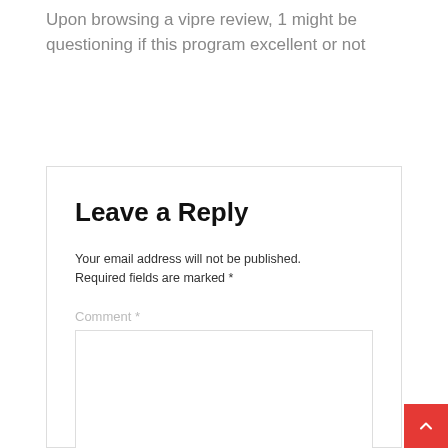Upon browsing a vipre review, 1 might be questioning if this program excellent or not
Leave a Reply
Your email address will not be published. Required fields are marked *
Comment *